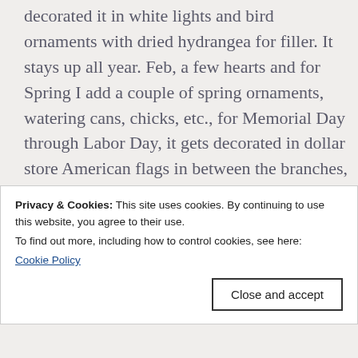decorated it in white lights and bird ornaments with dried hydrangea for filler. It stays up all year. Feb, a few hearts and for Spring I add a couple of spring ornaments, watering cans, chicks, etc., for Memorial Day through Labor Day, it gets decorated in dollar store American flags in between the branches, for fall peasant feathers and pretty colored leaves and then back to winter, just the birds. It is so much fun
Privacy & Cookies: This site uses cookies. By continuing to use this website, you agree to their use.
To find out more, including how to control cookies, see here: Cookie Policy